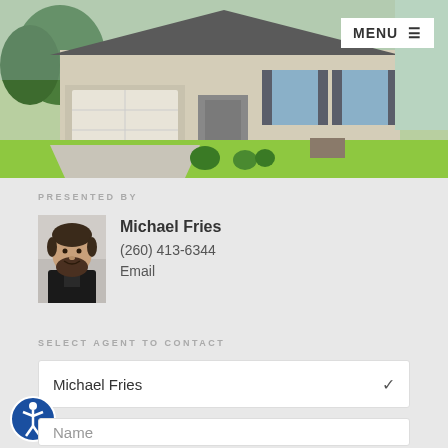[Figure (photo): Exterior photo of a residential house with gray siding, two-car garage, manicured lawn, and flower beds]
MENU ≡
PRESENTED BY
[Figure (photo): Headshot of Michael Fries, a man with dark beard wearing a black suit]
Michael Fries
(260) 413-6344
Email
SELECT AGENT TO CONTACT
Michael Fries
Name